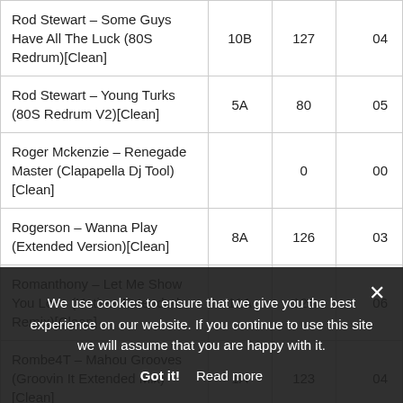| Track | Key | BPM |  |
| --- | --- | --- | --- |
| Rod Stewart – Some Guys Have All The Luck (80S Redrum)[Clean] | 10B | 127 | 04 |
| Rod Stewart – Young Turks (80S Redrum V2)[Clean] | 5A | 80 | 05 |
| Roger Mckenzie – Renegade Master (Clapapella Dj Tool)[Clean] |  | 0 | 00 |
| Rogerson – Wanna Play (Extended Version)[Clean] | 8A | 126 | 03 |
| Romanthony – Let Me Show You Love (Hatiras Extended Remix)[Clean] | 11A | 125 | 06 |
| Rombe4T – Mahou Grooves (Groovin It Extended Mix)[Clean] | 1A | 123 | 04 |
| Romy Black – Testify (Extended… |  |  |  |
We use cookies to ensure that we give you the best experience on our website. If you continue to use this site we will assume that you are happy with it.